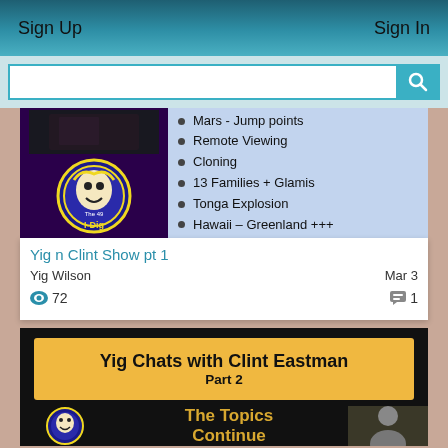Sign Up    Sign In
[Figure (screenshot): Search bar with magnifying glass icon]
[Figure (screenshot): Thumbnail for Yig n Clint Show pt 1 video: dark purple background with logo on left and bullet list on right (Mars - Jump points, Remote Viewing, Cloning, 13 Families + Glamis, Tonga Explosion, Hawaii – Greenland +++)]
Yig n Clint Show pt 1
Yig Wilson
Mar 3
72
1
[Figure (screenshot): Thumbnail for Yig Chats with Clint Eastman Part 2: black background with gold banner title, logo bottom left, 'The Topics Continue' text, and person image bottom right]